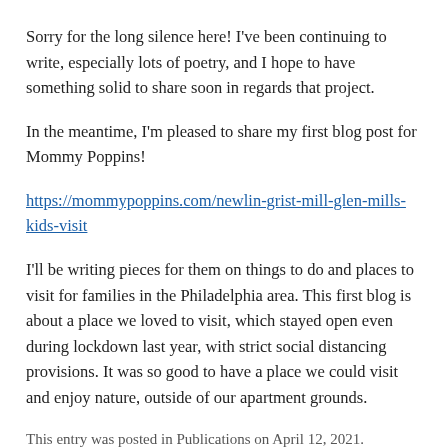Sorry for the long silence here! I've been continuing to write, especially lots of poetry, and I hope to have something solid to share soon in regards that project.
In the meantime, I'm pleased to share my first blog post for Mommy Poppins!
https://mommypoppins.com/newlin-grist-mill-glen-mills-kids-visit
I'll be writing pieces for them on things to do and places to visit for families in the Philadelphia area. This first blog is about a place we loved to visit, which stayed open even during lockdown last year, with strict social distancing provisions. It was so good to have a place we could visit and enjoy nature, outside of our apartment grounds.
This entry was posted in Publications on April 12, 2021.